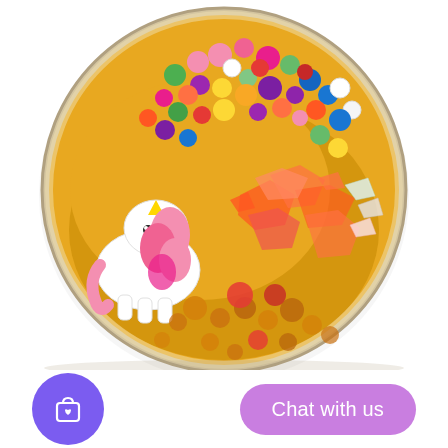[Figure (photo): A round clear container (slime jar) filled with golden/amber slime, decorated with colorful foam beads in rainbow colors on top, a white unicorn figurine with pink mane and golden horn on the left side, orange/red crushed crystal pieces in the center-right, and amber/red gel beads at the bottom.]
[Figure (other): Bottom UI bar with a purple circular shopping bag with heart icon button on the left, and a purple/mauve pill-shaped 'Chat with us' button on the right.]